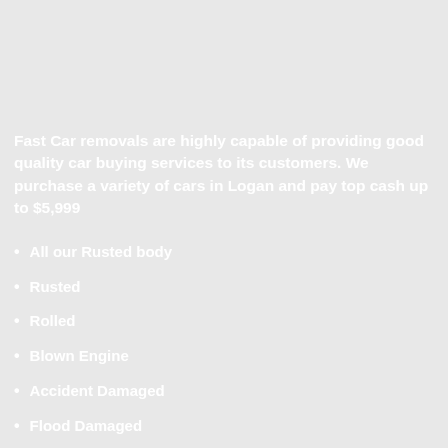Fast Car removals are highly capable of providing good quality car buying services to its customers. We purchase a variety of cars in Logan and pay top cash up to $5,999
All our Rusted body
Rusted
Rolled
Blown Engine
Accident Damaged
Flood Damaged